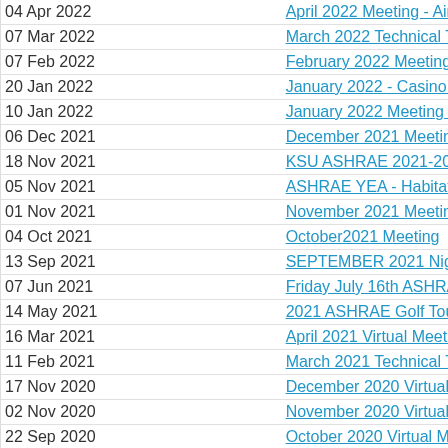04 Apr 2022 | April 2022 Meeting - Air...
07 Mar 2022 | March 2022 Technical T...
07 Feb 2022 | February 2022 Meeting...
20 Jan 2022 | January 2022 - Casino N...
10 Jan 2022 | January 2022 Meeting -...
06 Dec 2021 | December 2021 Meeting...
18 Nov 2021 | KSU ASHRAE 2021-202...
05 Nov 2021 | ASHRAE YEA - Habitat...
01 Nov 2021 | November 2021 Meeting...
04 Oct 2021 | October2021 Meeting
13 Sep 2021 | SEPTEMBER 2021 Nig...
07 Jun 2021 | Friday July 16th ASHRA...
14 May 2021 | 2021 ASHRAE Golf Tou...
16 Mar 2021 | April 2021 Virtual Meetin...
11 Feb 2021 | March 2021 Technical T...
17 Nov 2020 | December 2020 Virtual...
02 Nov 2020 | November 2020 Virtual...
22 Sep 2020 | October 2020 Virtual Me...
23 Aug 2020 | YEA Fantasy Football
19 Jun 2020 | YEA Quarantine Classic...
05 Jun 2020 | KC ASHRAE Day at the...